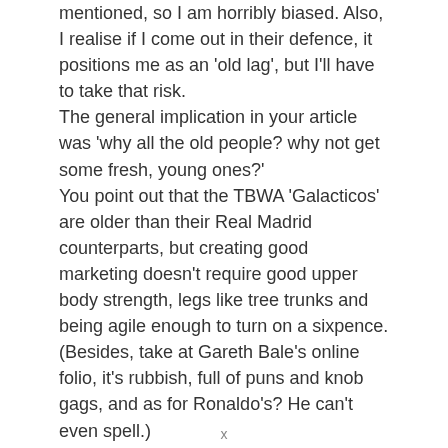mentioned, so I am horribly biased. Also, I realise if I come out in their defence, it positions me as an 'old lag', but I'll have to take that risk. The general implication in your article was 'why all the old people? why not get some fresh, young ones?' You point out that the TBWA 'Galacticos' are older than their Real Madrid counterparts, but creating good marketing doesn't require good upper body strength, legs like tree trunks and being agile enough to turn on a sixpence. (Besides, take at Gareth Bale's online folio, it's rubbish, full of puns and knob gags, and as for Ronaldo's? He can't even spell.) I know it plays better in the trade press to hire Creative people from exotic foreign locations with unpronounceable names, but it doesn't always play well in the actual agencies. Creative isn't just creating 'some cool stuff'. Like Planning and Account Handling, it's
x